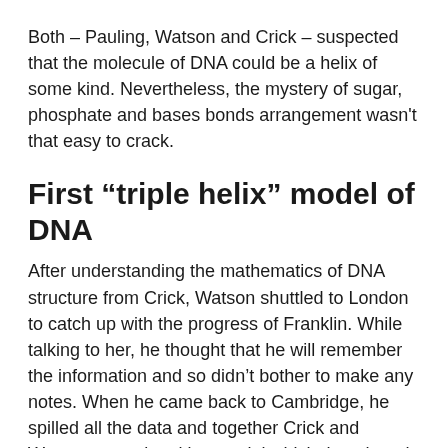Both – Pauling, Watson and Crick – suspected that the molecule of DNA could be a helix of some kind. Nevertheless, the mystery of sugar, phosphate and bases bonds arrangement wasn't that easy to crack.
First “triple helix” model of DNA
After understanding the mathematics of DNA structure from Crick, Watson shuttled to London to catch up with the progress of Franklin. While talking to her, he thought that he will remember the information and so didn’t bother to make any notes. When he came back to Cambridge, he spilled all the data and together Crick and Watson started making model which they though would be of a helical molecule.
They made a structure of helix with three sugar phosphate chains on the inside and the bases sticking out.  Both invited Wilkins and Franklin to take a look. Unfortunately, Watson had